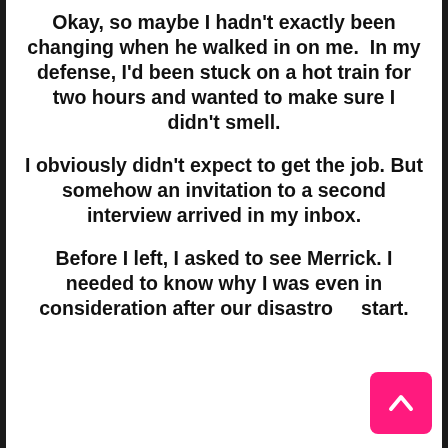Okay, so maybe I hadn't exactly been changing when he walked in on me.  In my defense, I'd been stuck on a hot train for two hours and wanted to make sure I didn't smell.
I obviously didn't expect to get the job. But somehow an invitation to a second interview arrived in my inbox.
Before I left, I asked to see Merrick. I needed to know why I was even in consideration after our disastro start.